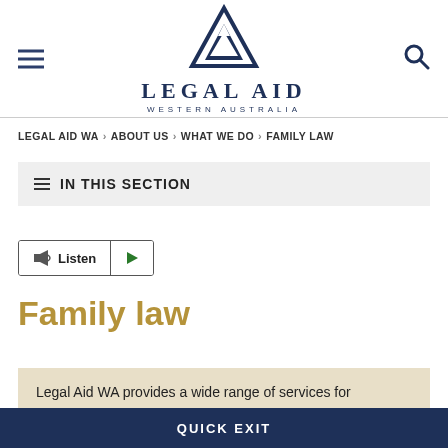[Figure (logo): Legal Aid Western Australia logo with triangular geometric mark and text LEGAL AID / WESTERN AUSTRALIA]
LEGAL AID WA > ABOUT US > WHAT WE DO > FAMILY LAW
≡ IN THIS SECTION
Listen ▶
Family law
Legal Aid WA provides a wide range of services for
QUICK EXIT